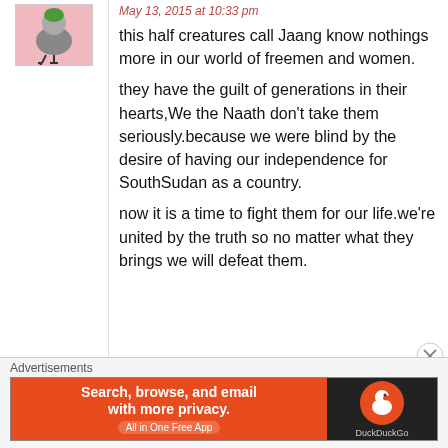May 13, 2015 at 10:33 pm
this half creatures call Jaang know nothings more in our world of freemen and women.
they have the guilt of generations in their hearts,We the Naath don't take them seriously.because we were blind by the desire of having our independence for SouthSudan as a country.
now it is a time to fight them for our life.we're united by the truth so no matter what they brings we will defeat them.
[Figure (illustration): Avatar image of a cartoon bird/creature on pink background]
Advertisements
[Figure (screenshot): DuckDuckGo advertisement banner: 'Search, browse, and email with more privacy. All in One Free App' with DuckDuckGo logo on dark background]